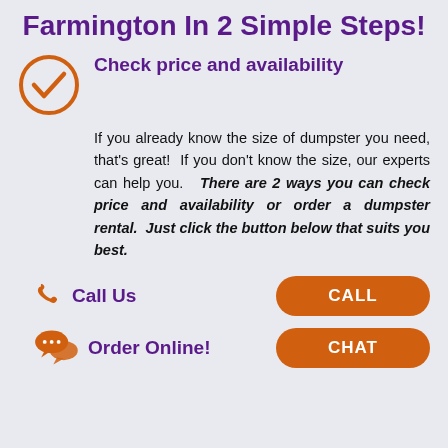Farmington In 2 Simple Steps!
Check price and availability
If you already know the size of dumpster you need, that's great!  If you don't know the size, our experts can help you.   There are 2 ways you can check price and availability or order a dumpster rental.  Just click the button below that suits you best.
Call Us   CALL
Order Online!   CHAT